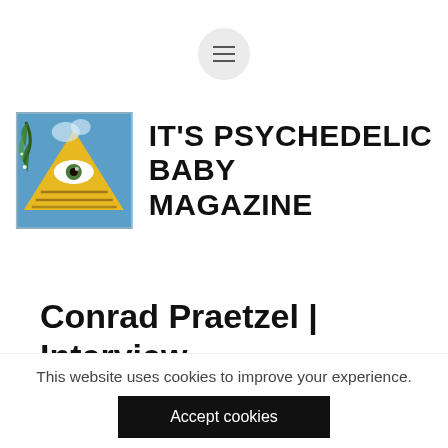[Figure (logo): Hamburger menu button — three horizontal lines in a light gray circle]
[Figure (logo): It's Psychedelic Baby Magazine logo: pyramid with all-seeing eye artwork on left, bold text IT'S PSYCHEDELIC BABY MAGAZINE on right]
Conrad Praetzel | Interview | New Album 'Adventures
This website uses cookies to improve your experience.
Accept cookies